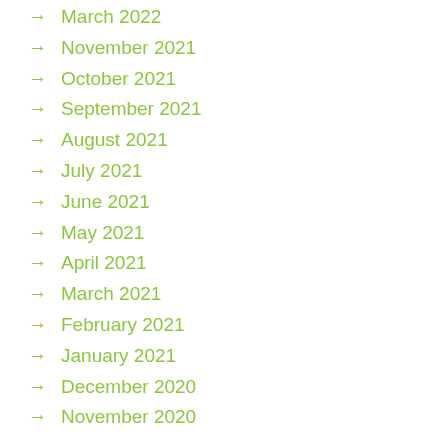March 2022
November 2021
October 2021
September 2021
August 2021
July 2021
June 2021
May 2021
April 2021
March 2021
February 2021
January 2021
December 2020
November 2020